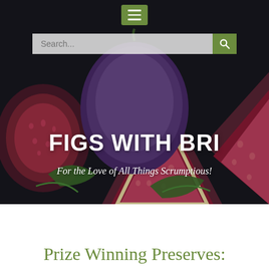[Figure (screenshot): Hero section of 'Figs With Bri' food blog website with hamburger menu, search bar, and fig photo background]
FIGS WITH BRI
For the Love of All Things Scrumptious!
Prize Winning Preserves: